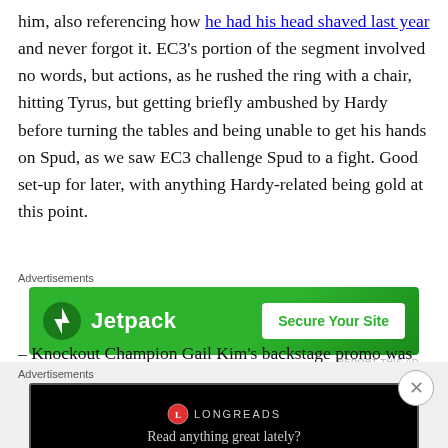him, also referencing how he had his head shaved last year and never forgot it. EC3's portion of the segment involved no words, but actions, as he rushed the ring with a chair, hitting Tyrus, but getting briefly ambushed by Hardy before turning the tables and being unable to get his hands on Spud, as we saw EC3 challenge Spud to a fight. Good set-up for later, with anything Hardy-related being gold at this point.
[Figure (screenshot): Green Jetpack advertisement banner with 'Secure Your Site' button]
– Knockout Champion Gail Kim's backstage promo was
[Figure (screenshot): Black Longreads advertisement banner with 'Read anything great lately?' text and close button]